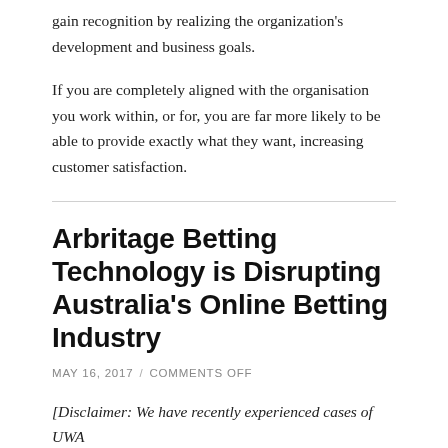gain recognition by realizing the organization's development and business goals.
If you are completely aligned with the organisation you work within, or for, you are far more likely to be able to provide exactly what they want, increasing customer satisfaction.
Arbritage Betting Technology is Disrupting Australia's Online Betting Industry
MAY 16, 2017  /  COMMENTS OFF
[Disclaimer: We have recently experienced cases of UWA students submitting articles with subtle advertisements and